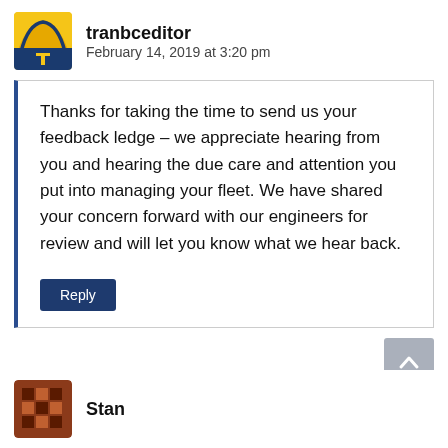[Figure (logo): tranbceditor avatar: yellow/orange square icon with highway/bridge graphic and blue road symbol]
tranbceditor
February 14, 2019 at 3:20 pm
Thanks for taking the time to send us your feedback ledge – we appreciate hearing from you and hearing the due care and attention you put into managing your fleet. We have shared your concern forward with our engineers for review and will let you know what we hear back.
Reply
[Figure (logo): Stan avatar: brown/rust colored square icon with pixel/cross pattern]
Stan